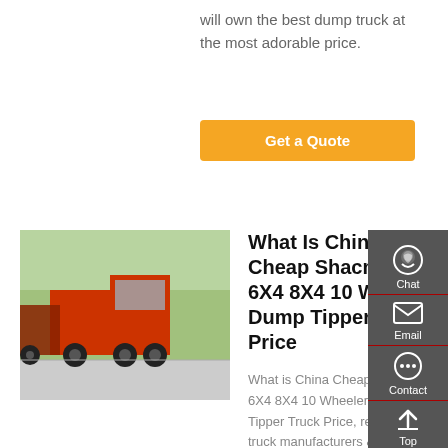will own the best dump truck at the most adorable price.
Get a Quote
[Figure (photo): Red Shacman dump trucks parked in a row outdoors]
What Is China Cheap Shacman 6X4 8X4 10 Wheeler Dump Tipper Truck Price
What is China Cheap Shacman 6X4 8X4 10 Wheeler Dump Tipper Truck Price, refregeration truck manufacturers & suppliers on Video Channel of Made-in-